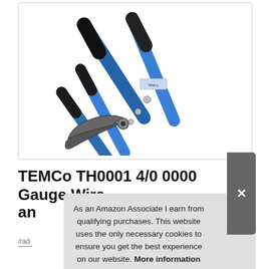[Figure (photo): TEMCo TH0001 cable cutter tool with blue metal handles, black rubber grips, and large scissor-style cutting blades, photographed on white background]
TEMCo TH0001 4/0 0000 Gauge Wire
an
#ad
As an Amazon Associate I earn from qualifying purchases. This website uses the only necessary cookies to ensure you get the best experience on our website. More information